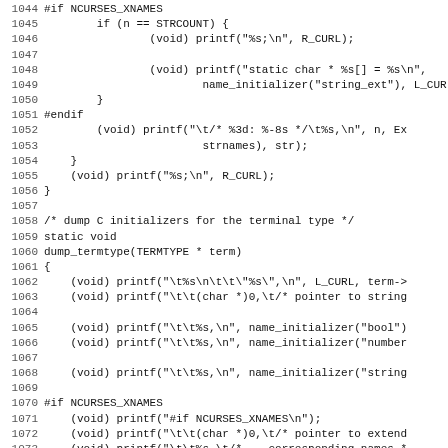[Figure (screenshot): Source code listing in monospace font showing C code for ncurses terminal dump functions, lines 1044-1075]